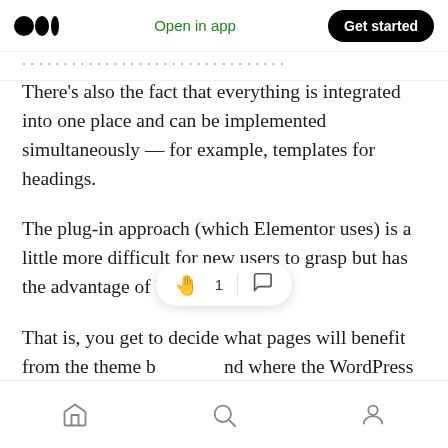Medium logo | Open in app | Get started
...and approach there / that...
There’s also the fact that everything is integrated into one place and can be implemented simultaneously — for example, templates for headings.
The plug-in approach (which Elementor uses) is a little more difficult for new users to grasp but has the advantage of being specific.
That is, you get to decide what pages will benefit from the theme b... nd where the WordPress theme is good enough.
Home | Search | Profile